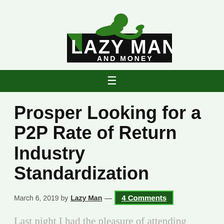[Figure (logo): Lazy Man and Money logo: green silhouette of a reclining man on a black rectangular background with 'LAZY MAN AND MONEY' text]
≡
Prosper Looking for a P2P Rate of Return Industry Standardization
March 6, 2019 by Lazy Man — 4 Comments
Last night I had the pleasure of attending